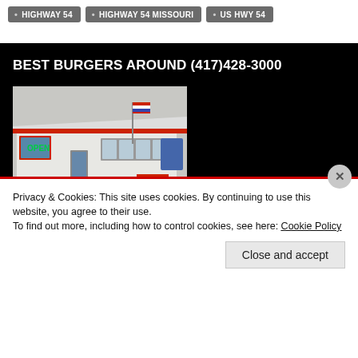HIGHWAY 54
HIGHWAY 54 MISSOURI
US HWY 54
BEST BURGERS AROUND (417)428-3000
[Figure (photo): Exterior photo of Our Kitchen Table restaurant, a small white building with red trim, an OPEN sign in the window, an American flag, and red outdoor chairs. A banner overlay reads 'Our Kitchen Table'.]
Privacy & Cookies: This site uses cookies. By continuing to use this website, you agree to their use.
To find out more, including how to control cookies, see here: Cookie Policy
Close and accept